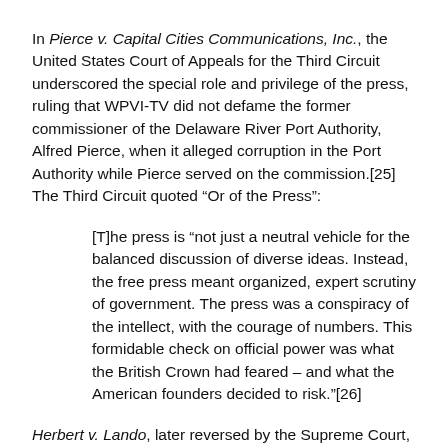In Pierce v. Capital Cities Communications, Inc., the United States Court of Appeals for the Third Circuit underscored the special role and privilege of the press, ruling that WPVI-TV did not defame the former commissioner of the Delaware River Port Authority, Alfred Pierce, when it alleged corruption in the Port Authority while Pierce served on the commission.[25] The Third Circuit quoted "Or of the Press":
[T]he press is "not just a neutral vehicle for the balanced discussion of diverse ideas. Instead, the free press meant organized, expert scrutiny of government. The press was a conspiracy of the intellect, with the courage of numbers. This formidable check on official power was what the British Crown had feared – and what the American founders decided to risk."[26]
Herbert v. Lando, later reversed by the Supreme Court,